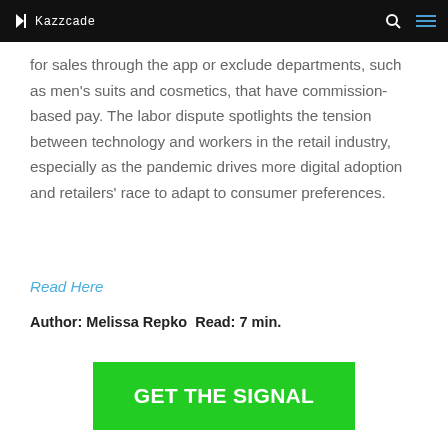Kazzcade
for sales through the app or exclude departments, such as men's suits and cosmetics, that have commission-based pay. The labor dispute spotlights the tension between technology and workers in the retail industry, especially as the pandemic drives more digital adoption and retailers' race to adapt to consumer preferences.
Read Here
Author: Melissa Repko  Read: 7 min.
GET THE SIGNAL